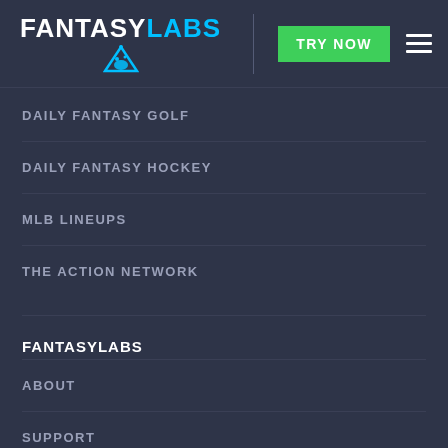FANTASYLABS — TRY NOW
DAILY FANTASY GOLF
DAILY FANTASY HOCKEY
MLB LINEUPS
THE ACTION NETWORK
FANTASYLABS
ABOUT
SUPPORT
PODCASTS
SUBSCRIBE